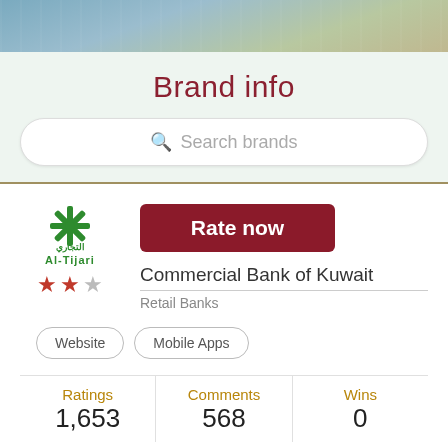[Figure (photo): Top banner photo with blue/denim fabric background]
Brand info
Search brands
[Figure (logo): Al-Tijari Commercial Bank of Kuwait logo with green snowflake and Arabic text]
Rate now
Commercial Bank of Kuwait
Retail Banks
Website
Mobile Apps
| Ratings | Comments | Wins |
| --- | --- | --- |
| 1,653 | 568 | 0 |